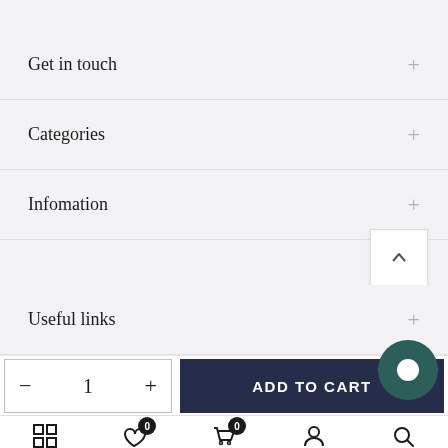Get in touch +
Categories +
Infomation +
Useful links +
- 1 +
ADD TO CART
Shop  Wishlist 0  Cart 0  Account  Search